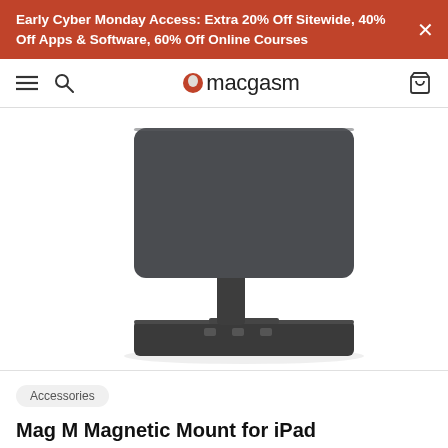Early Cyber Monday Access: Extra 20% Off Sitewide, 40% Off Apps & Software, 60% Off Online Courses
macgasm
[Figure (photo): Mag M Magnetic Mount for iPad - a dark grey/charcoal adjustable tablet stand with a rectangular base and articulated arm holding a tablet-sized panel, shown on white background]
Accessories
Mag M Magnetic Mount for iPad